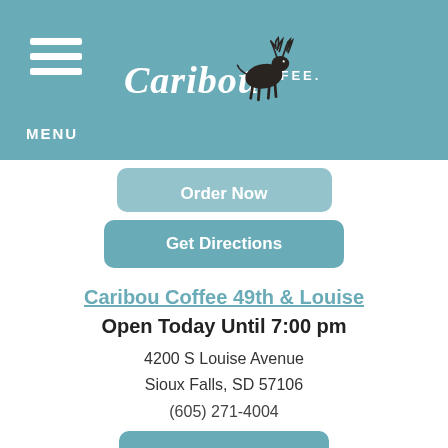[Figure (logo): Caribou Coffee logo with caribou silhouette and wordmark on teal header background, with hamburger menu icon and MENU label on the left]
Get Directions (partially visible button above)
Get Directions
Caribou Coffee 49th & Louise
Open Today Until 7:00 pm
4200 S Louise Avenue
Sioux Falls, SD 57106
(605) 271-4004
Store Info
Order Now
Get Directions